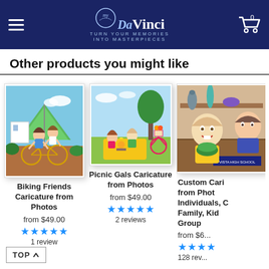myDaVinci — TURN YOUR MEMORIES INTO MASTERPIECES
Other products you might like
[Figure (illustration): Caricature illustration of two women on a tandem bicycle with green tent background — Biking Friends Caricature from Photos]
Biking Friends Caricature from Photos
from $49.00
★★★★★
1 review
[Figure (illustration): Caricature illustration of two girls having a picnic with bicycles — Picnic Gals Caricature from Photos]
Picnic Gals Caricature from Photos
from $49.00
★★★★★
2 reviews
[Figure (illustration): Caricature illustration of people in a room setting — Custom Caricature from Photos Individuals, Couples, Family, Kids, Group (partially clipped)]
Custom Caricature from Photos Individuals, Couples, Family, Kids, Group
from $6...
★★★★...
128 reviews